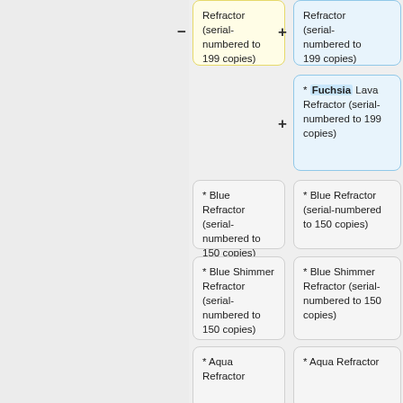[Figure (flowchart): Flowchart/comparison grid showing trading card variants (Lava Refractor, Fuchsia Lava Refractor, Blue Refractor, Blue Shimmer Refractor, Aqua Refractor) serial-numbered to 199 or 150 copies, arranged in two columns with plus/minus connectors between rows.]